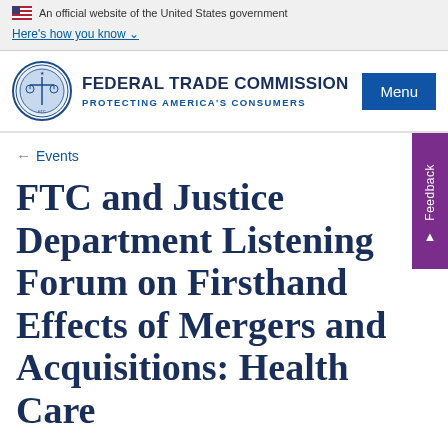An official website of the United States government
Here's how you know
[Figure (logo): Federal Trade Commission seal and wordmark with 'FEDERAL TRADE COMMISSION' and 'PROTECTING AMERICA'S CONSUMERS']
Menu
← Events
FTC and Justice Department Listening Forum on Firsthand Effects of Mergers and Acquisitions: Health Care